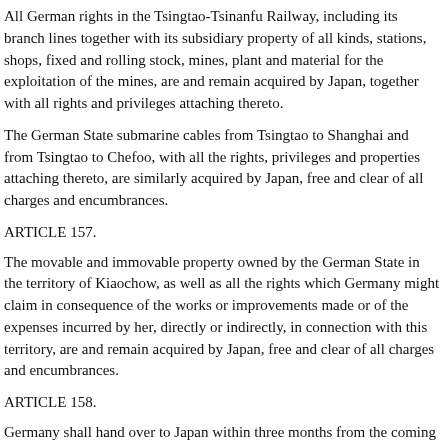All German rights in the Tsingtao-Tsinanfu Railway, including its branch lines together with its subsidiary property of all kinds, stations, shops, fixed and rolling stock, mines, plant and material for the exploitation of the mines, are and remain acquired by Japan, together with all rights and privileges attaching thereto.
The German State submarine cables from Tsingtao to Shanghai and from Tsingtao to Chefoo, with all the rights, privileges and properties attaching thereto, are similarly acquired by Japan, free and clear of all charges and encumbrances.
ARTICLE 157.
The movable and immovable property owned by the German State in the territory of Kiaochow, as well as all the rights which Germany might claim in consequence of the works or improvements made or of the expenses incurred by her, directly or indirectly, in connection with this territory, are and remain acquired by Japan, free and clear of all charges and encumbrances.
ARTICLE 158.
Germany shall hand over to Japan within three months from the coming into force of the present Treaty, the archives, registers and